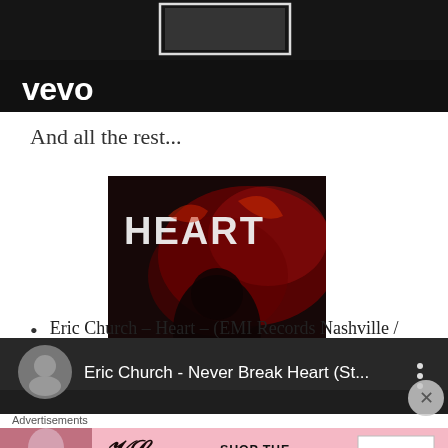[Figure (screenshot): Vevo video banner with dark background and white Vevo logo at bottom left]
And all the rest...
[Figure (photo): Album cover for Eric Church - Heart, dark red and black design with artist silhouette and HEART text]
Eric Church – Heart – (EMI Records Nashville / UMG)
[Figure (screenshot): Vevo video player thumbnail showing Eric Church - Never Break Heart (St... with avatar and menu dots]
Advertisements
[Figure (screenshot): Victoria's Secret advertisement banner - SHOP THE COLLECTION with SHOP NOW button]